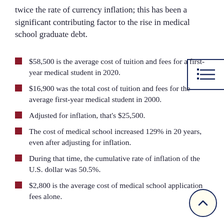twice the rate of currency inflation; this has been a significant contributing factor to the rise in medical school graduate debt.
$58,500 is the average cost of tuition and fees for a first-year medical student in 2020.
$16,900 was the total cost of tuition and fees for the average first-year medical student in 2000.
Adjusted for inflation, that's $25,500.
The cost of medical school increased 129% in 20 years, even after adjusting for inflation.
During that time, the cumulative rate of inflation of the U.S. dollar was 50.5%.
$2,800 is the average cost of medical school application fees alone.